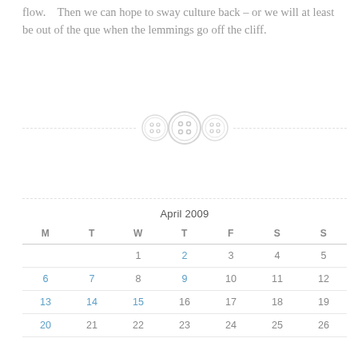flow.    Then we can hope to sway culture back – or we will at least be out of the que when the lemmings go off the cliff.
[Figure (illustration): Three button icons on a dashed horizontal divider line]
| M | T | W | T | F | S | S |
| --- | --- | --- | --- | --- | --- | --- |
|  |  | 1 | 2 | 3 | 4 | 5 |
| 6 | 7 | 8 | 9 | 10 | 11 | 12 |
| 13 | 14 | 15 | 16 | 17 | 18 | 19 |
| 20 | 21 | 22 | 23 | 24 | 25 | 26 |